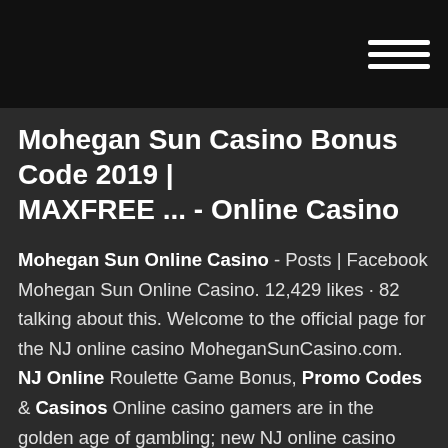≡ (hamburger menu icon)
Mohegan Sun Casino Bonus Code 2019 | MAXFREE ... - Online Casino
Mohegan Sun Online Casino - Posts | Facebook Mohegan Sun Online Casino. 12,429 likes · 82 talking about this. Welcome to the official page for the NJ online casino MoheganSunCasino.com. NJ Online Roulette Game Bonus, Promo Codes & Casinos Online casino gamers are in the golden age of gambling; new NJ online casino bonus codes are virtually launching every single week!Even the lobby is practically unchanged, with Mohegan boasting a more calming orange. While it's best to try both brands out before deciding which one... mohegansun.com promo code from UsingPromoCode.com Mohegan Sun 10+ active mohegansun.com promo codes for March 2019. Most